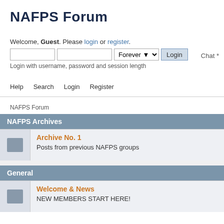NAFPS Forum
Welcome, Guest. Please login or register.
Login with username, password and session length
Chat *
Help   Search   Login   Register
NAFPS Forum
NAFPS Archives
Archive No. 1
Posts from previous NAFPS groups
General
Welcome & News
NEW MEMBERS START HERE!